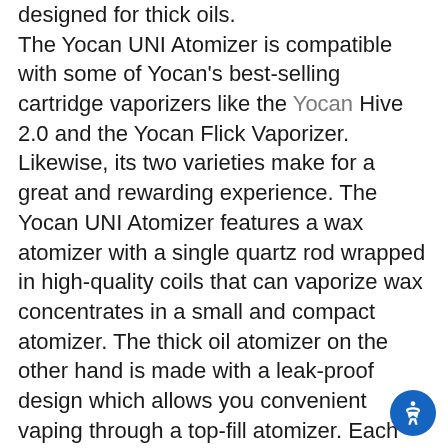designed for thick oils. The Yocan UNI Atomizer is compatible with some of Yocan's best-selling cartridge vaporizers like the Yocan Hive 2.0 and the Yocan Flick Vaporizer. Likewise, its two varieties make for a great and rewarding experience. The Yocan UNI Atomizer features a wax atomizer with a single quartz rod wrapped in high-quality coils that can vaporize wax concentrates in a small and compact atomizer. The thick oil atomizer on the other hand is made with a leak-proof design which allows you convenient vaping through a top-fill atomizer. Each atomizer can be connected to the magnetic adapter through a 510-threaded link which means that it will have a secure and safe hold especially when connected to the battery. Simply twist the threaded attachments clockwise to tighten the atomizer to the magnetic adapter and twist it counter clockwise to loosen the atomizers to the magnetic adapters. Changing and